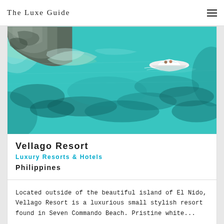The Luxe Guide
[Figure (photo): Aerial view of turquoise/teal tropical ocean water with coral reef visible beneath the surface, rocky coastline with boulders in the upper left, and a small white motorboat on the water in the upper right area.]
Vellago Resort
Luxury Resorts & Hotels
Philippines
Located outside of the beautiful island of El Nido, Vellago Resort is a luxurious small stylish resort found in Seven Commando Beach. Pristine white...